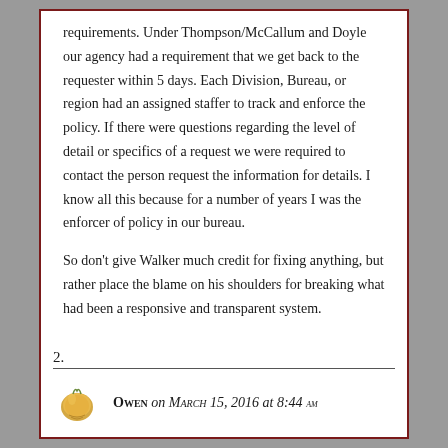requirements. Under Thompson/McCallum and Doyle our agency had a requirement that we get back to the requester within 5 days. Each Division, Bureau, or region had an assigned staffer to track and enforce the policy. If there were questions regarding the level of detail or specifics of a request we were required to contact the person request the information for details. I know all this because for a number of years I was the enforcer of policy in our bureau.
So don't give Walker much credit for fixing anything, but rather place the blame on his shoulders for breaking what had been a responsive and transparent system.
2.
Owen on March 15, 2016 at 8:44 am